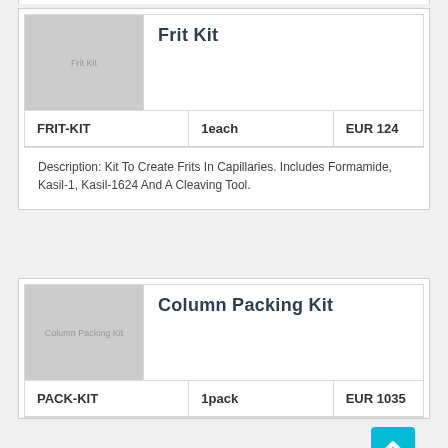| SKU | Quantity | Price |
| --- | --- | --- |
| FRIT-KIT | 1each | EUR 124 |
Frit Kit
Description: Kit To Create Frits In Capillaries. Includes Formamide, Kasil-1, Kasil-1624 And A Cleaving Tool.
Column Packing Kit
| SKU | Quantity | Price |
| --- | --- | --- |
| PACK-KIT | 1pack | EUR 1035 |